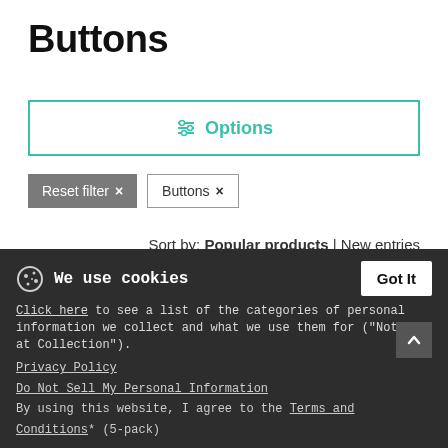Buttons
Options
Reset filter ×
Buttons ×
Sort by: Popular products | New entries
[Figure (photo): Product image of large buttons (5-pack) with a 5× badge overlay]
Buttons large 2.2" (5-pack)
One Size & 1 Color
We use cookies
Got It
Click here to see a list of the categories of personal information we collect and what we use them for ("Notice at Collection").
Privacy Policy
Do Not Sell My Personal Information
By using this website, I agree to the Terms and Conditions* (5-pack)